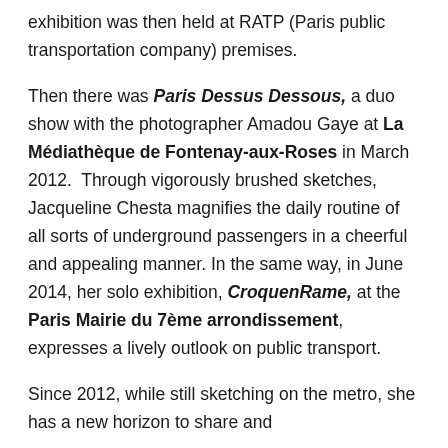exhibition was then held at RATP (Paris public transportation company) premises.
Then there was Paris Dessus Dessous, a duo show with the photographer Amadou Gaye at La Médiathèque de Fontenay-aux-Roses in March 2012. Through vigorously brushed sketches, Jacqueline Chesta magnifies the daily routine of all sorts of underground passengers in a cheerful and appealing manner. In the same way, in June 2014, her solo exhibition, CroquenRame, at the Paris Mairie du 7ème arrondissement, expresses a lively outlook on public transport.
Since 2012, while still sketching on the metro, she has a new horizon to share and